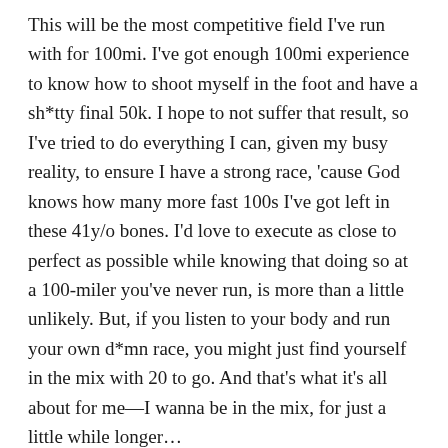This will be the most competitive field I've run with for 100mi. I've got enough 100mi experience to know how to shoot myself in the foot and have a sh*tty final 50k. I hope to not suffer that result, so I've tried to do everything I can, given my busy reality, to ensure I have a strong race, 'cause God knows how many more fast 100s I've got left in these 41y/o bones. I'd love to execute as close to perfect as possible while knowing that doing so at a 100-miler you've never run, is more than a little unlikely. But, if you listen to your body and run your own d*mn race, you might just find yourself in the mix with 20 to go. And that's what it's all about for me—I wanna be in the mix, for just a little while longer…